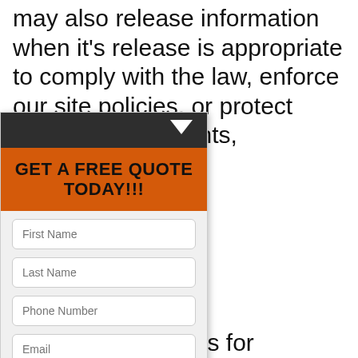may also release information when it's release is appropriate to comply with the law, enforce our site policies, or protect ours or others' rights,
[Figure (screenshot): A popup widget with dark header containing a down-arrow icon, an orange 'GET A FREE QUOTE TODAY!!!' header, form fields for First Name, Last Name, Phone Number, Email, a yellow SUBMIT button, and 'VOID WHERE PROHIBITED.' footnote text.]
identifiable visitor ded to other parties for other uses.
etion, we may include or or services on our y sites have separate and ties. We, therefore, have ty for the content and